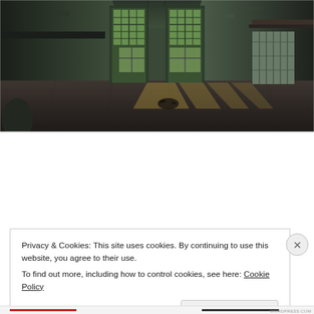[Figure (photo): Interior of an abandoned building with peeling paint, crumbling walls, two open doorways with windows beyond, sunlight casting rectangular patterns on a dirty tiled floor, a corrugated metal radiator visible on the right wall]
Privacy & Cookies: This site uses cookies. By continuing to use this website, you agree to their use.
To find out more, including how to control cookies, see here: Cookie Policy
Close and accept